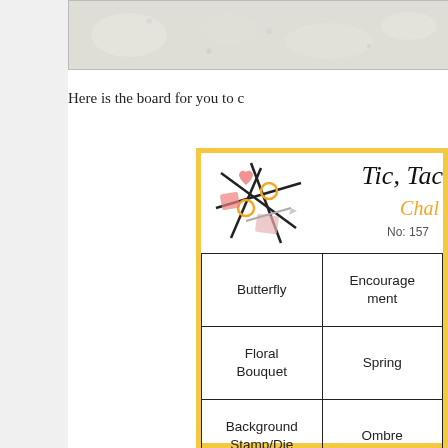[Figure (photo): Partial top photo strip showing a light-colored textured image, cropped at the bottom of the page top]
Here is the board for you to c
[Figure (infographic): Tic Tac Toe Challenge card No: 157 with decorative tic-tac-toe grid logo and a 3x3 grid containing: Butterfly, Encouragement, [third col cut off], Floral Bouquet, Spring, [cut off], Background Stamp/Die, Ombre, [cut off]]